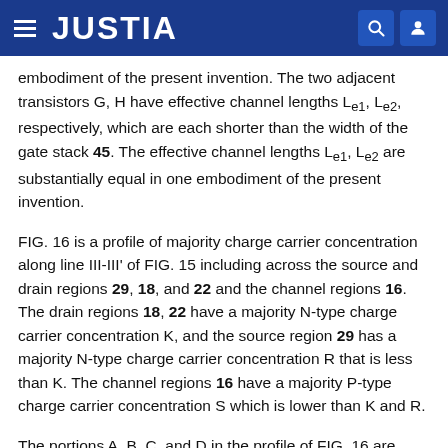JUSTIA
embodiment of the present invention. The two adjacent transistors G, H have effective channel lengths Le1, Le2, respectively, which are each shorter than the width of the gate stack 45. The effective channel lengths Le1, Le2 are substantially equal in one embodiment of the present invention.
FIG. 16 is a profile of majority charge carrier concentration along line III-III' of FIG. 15 including across the source and drain regions 29, 18, and 22 and the channel regions 16. The drain regions 18, 22 have a majority N-type charge carrier concentration K, and the source region 29 has a majority N-type charge carrier concentration R that is less than K. The channel regions 16 have a majority P-type charge carrier concentration S which is lower than K and R.
The portions A, B, C, and D in the profile of FIG. 16 are